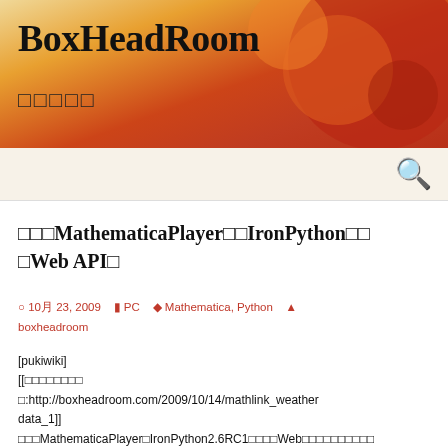BoxHeadRoom □□□□□
□□□MathematicaPlayer□□IronPython□□□□Web API□
○ 10月 23, 2009  ■ PC  ● Mathematica, Python  ▲ boxheadroom
[pukiwiki]
[[□□□□□□□□
□:http://boxheadroom.com/2009/10/14/mathlink_weatherdata_1]]
□□□MathematicaPlayer□IronPython2.6RC1□□□□Web□□□□□□□□□□
□□□□